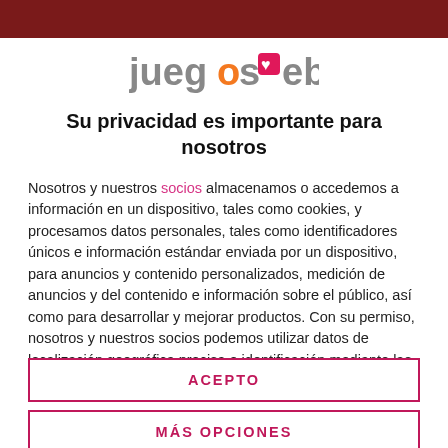[Figure (screenshot): Top banner image showing a dark reddish-brown background, partially visible at the top of the page]
[Figure (logo): JuegosWeb logo — stylized text with orange 'o', pink puzzle-piece heart icon]
Su privacidad es importante para nosotros
Nosotros y nuestros socios almacenamos o accedemos a información en un dispositivo, tales como cookies, y procesamos datos personales, tales como identificadores únicos e información estándar enviada por un dispositivo, para anuncios y contenido personalizados, medición de anuncios y del contenido e información sobre el público, así como para desarrollar y mejorar productos. Con su permiso, nosotros y nuestros socios podemos utilizar datos de localización geográfica precisa e identificación mediante las características de dispositivos. Puede hacer clic para otorgarnos su consentimiento a
ACEPTO
MÁS OPCIONES